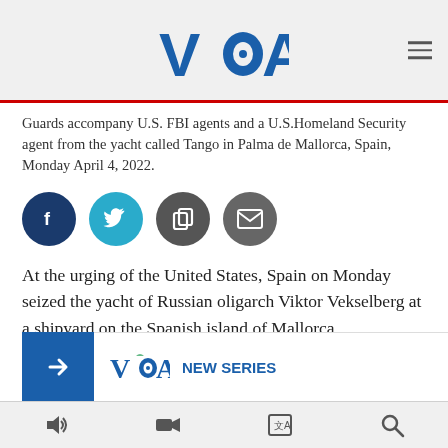VOA
Guards accompany U.S. FBI agents and a U.S.Homeland Security agent from the yacht called Tango in Palma de Mallorca, Spain, Monday April 4, 2022.
[Figure (infographic): Social share buttons: Facebook, Twitter, Copy, Email]
At the urging of the United States, Spain on Monday seized the yacht of Russian oligarch Viktor Vekselberg at a shipyard on the Spanish island of Mallorca.
The 78-meter-long boat … more than $99 million.
[Figure (infographic): VOA New Series promotional banner with blue arrow and VOA logo]
Audio | Video | Language | Search